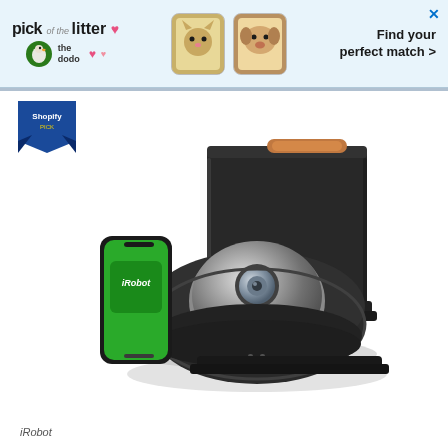[Figure (photo): Advertisement banner for 'The Dodo' pet adoption service with text 'pick of the litter' and pet photos, with X close button]
[Figure (photo): iRobot Roomba j7+ robot vacuum with self-emptying base station dock, shown with a green smartphone displaying iRobot app]
iRobot